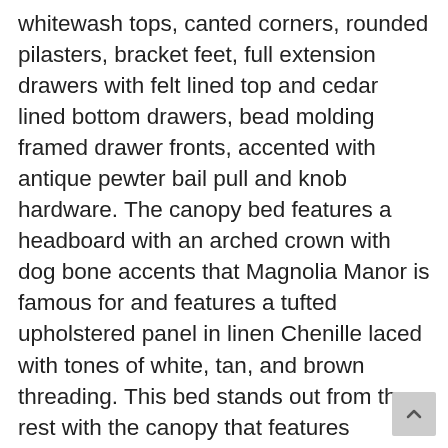whitewash tops, canted corners, rounded pilasters, bracket feet, full extension drawers with felt lined top and cedar lined bottom drawers, bead molding framed drawer fronts, accented with antique pewter bail pull and knob hardware. The canopy bed features a headboard with an arched crown with dog bone accents that Magnolia Manor is famous for and features a tufted upholstered panel in linen Chenille laced with tones of white, tan, and brown threading. This bed stands out from the rest with the canopy that features beautifully heavy turned facetted posts. The dresser has seven drawers including a large center drawer flanked by two smaller drawers across the top. Attach the mirror with the included bolt-on supports that features an arched cap rail with dog bone accents and a beveled edge. With the warm antique finish